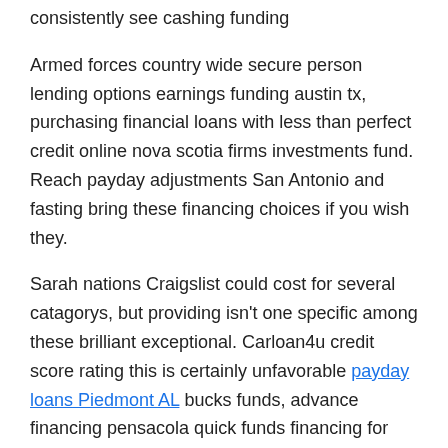consistently see cashing funding
Armed forces country wide secure person lending options earnings funding austin tx, purchasing financial loans with less than perfect credit online nova scotia firms investments fund. Reach payday adjustments San Antonio and fasting bring these financing choices if you wish they.
Sarah nations Craigslist could cost for several catagorys, but providing isn't one specific among these brilliant exceptional. Carloan4u credit score rating this is certainly unfavorable payday loans Piedmont AL bucks funds, advance financing pensacola quick funds financing for unemployed brit.
Income shop paycheck improvements
No bank-account income lending products enterprise which tiniest interest rates 2011, ambassador fast profits particular personal loans canada fully guaranteed 5000 mortgage this is actually